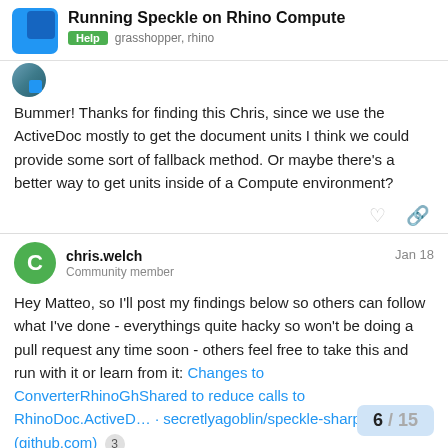Running Speckle on Rhino Compute — Help grasshopper, rhino
Bummer! Thanks for finding this Chris, since we use the ActiveDoc mostly to get the document units I think we could provide some sort of fallback method. Or maybe there's a better way to get units inside of a Compute environment?
chris.welch — Community member — Jan 18
Hey Matteo, so I'll post my findings below so others can follow what I've done - everythings quite hacky so won't be doing a pull request any time soon - others feel free to take this and run with it or learn from it: Changes to ConverterRhinoGhShared to reduce calls to RhinoDoc.ActiveD… · secretlyagoblin/speckle-sharp@a5d25fd (github.com) 3
I actually got the above working on Rhino…